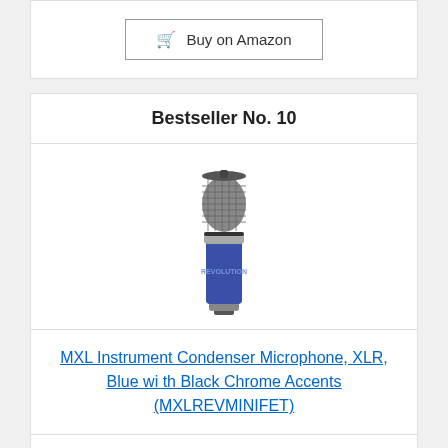Buy on Amazon
Bestseller No. 10
[Figure (photo): MXL Instrument Condenser Microphone with blue body and chrome/black mesh grille]
MXL Instrument Condenser Microphone, XLR, Blue with Black Chrome Accents (MXLREVMINIFET)
Price: $229.95 Prime